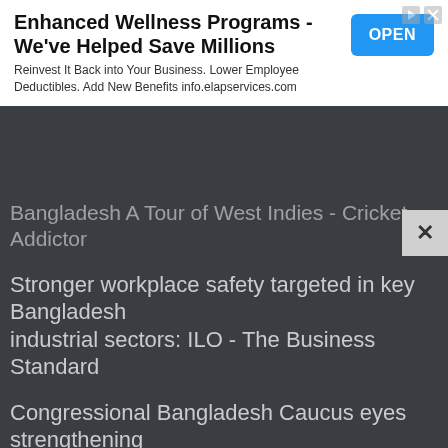[Figure (screenshot): Advertisement banner with title 'Enhanced Wellness Programs - We've Helped Save Millions', subtitle 'Reinvest It Back into Your Business. Lower Employee Deductibles. Add New Benefits info.elapservices.com', and blue OPEN button]
Bangladesh A Tour of West Indies - Cricket Addictor
Stronger workplace safety targeted in key Bangladesh industrial sectors: ILO - The Business Standard
Congressional Bangladesh Caucus eyes strengthening Dhaka-Washington ties - Dhaka Tribune
Climate Migration: Flooding forces Bangladesh family to flee - Miami Herald
Are Bangladesh's development measures leading to climate change readiness or maladaptation? (commentary) - Mongabay.com